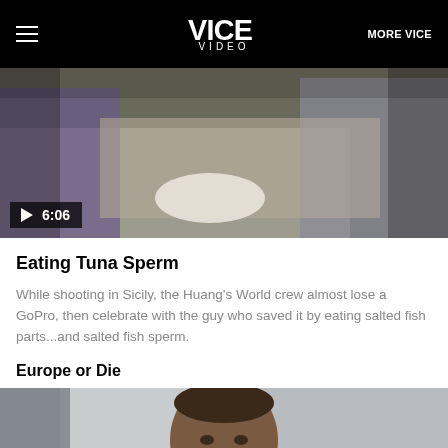VICE VIDEO | MORE VICE
[Figure (screenshot): Video thumbnail showing people eating at a table with food. Play button overlay shows duration 6:06.]
Eating Tuna Sperm
While shooting in Sicily, the Huang's World crew almost lose a GoPro, then celebrate with the guy who saved it by eating salted fish parts...and salted fish sperm.
Europe or Die
[Figure (photo): Close-up portrait of a man with short hair looking at the camera.]